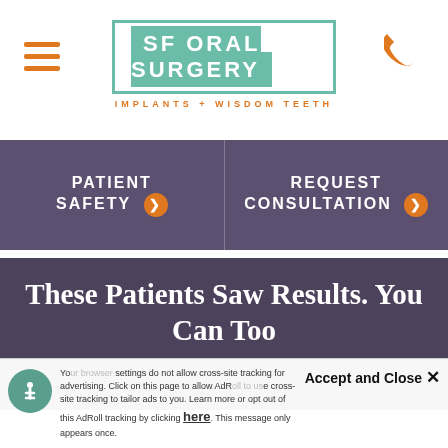[Figure (logo): SF Oral Surgery logo with teal box and text 'IMPLANTS + WISDOM TEETH']
SF ORAL SURGERY
IMPLANTS + WISDOM TEETH
PATIENT SAFETY ❯
REQUEST CONSULTATION ❯
These Patients Saw Results. You Can Too
Your browser settings do not allow cross-site tracking for advertising. Click on this page to allow AdRoll to use cross-site tracking to tailor ads to you. Learn more or opt out of this AdRoll tracking by clicking here. This message only appears once.
Accept and Close ✕